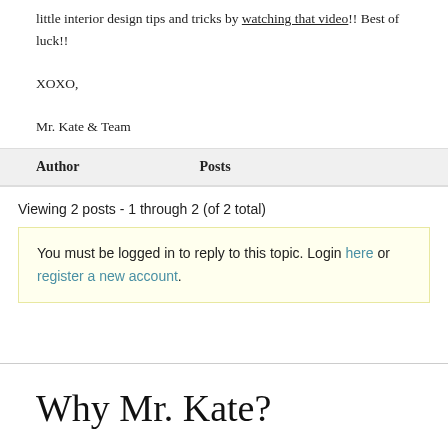little interior design tips and tricks by watching that video!! Best of luck!!
XOXO,
Mr. Kate & Team
| Author | Posts |
| --- | --- |
Viewing 2 posts - 1 through 2 (of 2 total)
You must be logged in to reply to this topic. Login here or register a new account.
Why Mr. Kate?
ABOUT US